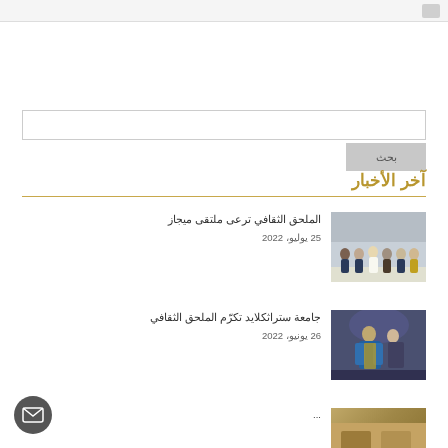بحث
آخر الأخبار
[Figure (photo): Group photo of several men in formal attire in an indoor setting]
الملحق الثقافي ترعى ملتقى ميجاز
25 يوليو، 2022
[Figure (photo): Person in blue academic graduation gown in an ornate interior setting]
جامعة ستراثكلايد تكرّم الملحق الثقافي
26 يونيو، 2022
[Figure (photo): Partially visible news item thumbnail]